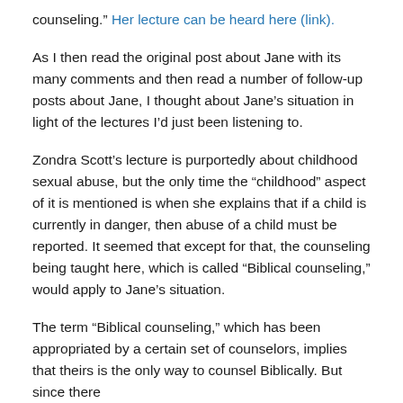counseling." Her lecture can be heard here (link).
As I then read the original post about Jane with its many comments and then read a number of follow-up posts about Jane, I thought about Jane’s situation in light of the lectures I’d just been listening to.
Zondra Scott’s lecture is purportedly about childhood sexual abuse, but the only time the “childhood” aspect of it is mentioned is when she explains that if a child is currently in danger, then abuse of a child must be reported. It seemed that except for that, the counseling being taught here, which is called “Biblical counseling,” would apply to Jane’s situation.
The term “Biblical counseling,” which has been appropriated by a certain set of counselors, implies that theirs is the only way to counsel Biblically. But since there